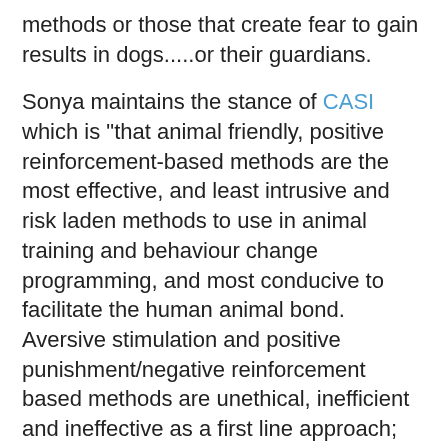methods or those that create fear to gain results in dogs.....or their guardians.
Sonya maintains the stance of CASI which is "that animal friendly, positive reinforcement-based methods are the most effective, and least intrusive and risk laden methods to use in animal training and behaviour change programming, and most conducive to facilitate the human animal bond.  Aversive stimulation and positive punishment/negative reinforcement based methods are unethical, inefficient and ineffective as a first line approach; they risk serious harm and are the most likely methods to deteriorate the human animal bond."
Sonya is a member of the Association of Animal Behaviour Professionals where "professionals do not use, condone or endorse aversive behaviour change